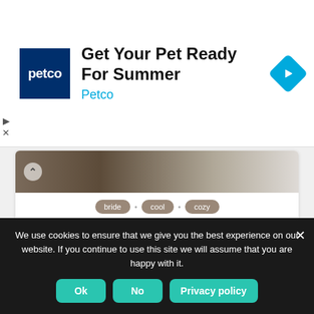[Figure (screenshot): Petco advertisement banner with blue Petco logo square, text 'Get Your Pet Ready For Summer' and 'Petco' in cyan, and a blue diamond navigation icon on the right]
[Figure (photo): Partial image showing wooden surface and a white object, cropped at top of content card]
bride
cool
cozy
Mrs. Bride Slide Sandals
The Comfiest, Craziest, Coolest, Customizable Slides Ever #StandInWhatYouStandFor ISlides make you...
About the author
We use cookies to ensure that we give you the best experience on our website. If you continue to use this site we will assume that you are happy with it.
Ok   No   Privacy policy